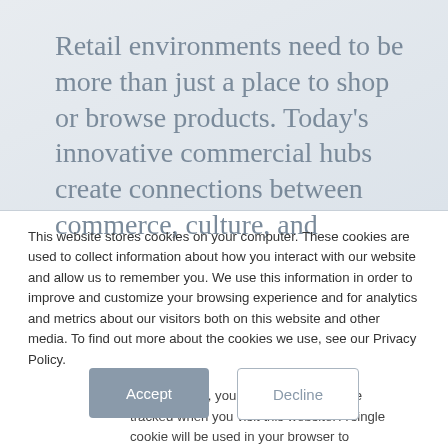Retail environments need to be more than just a place to shop or browse products. Today's innovative commercial hubs create connections between commerce, culture, and
This website stores cookies on your computer. These cookies are used to collect information about how you interact with our website and allow us to remember you. We use this information in order to improve and customize your browsing experience and for analytics and metrics about our visitors both on this website and other media. To find out more about the cookies we use, see our Privacy Policy.
If you decline, your information won't be tracked when you visit this website. A single cookie will be used in your browser to remember your preference not to be tracked.